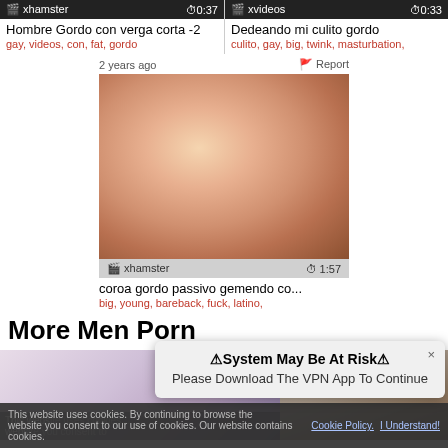[Figure (screenshot): xhamster video card with title 'Hombre Gordo con verga corta -2' and tags gay, videos, con, fat, gordo. Duration 0:37.]
[Figure (screenshot): xvideos video card with title 'Dedeando mi culito gordo' and tags culito, gay, big, twink, masturbation. Duration 0:33.]
[Figure (screenshot): Featured video thumbnail from xhamster, duration 1:57, title 'coroa gordo passivo gemendo co...', tags big, young, bareback, fuck, latino. Posted 2 years ago.]
More Men Porn
[Figure (screenshot): Two video thumbnails at bottom of page under More Men Porn section.]
⚠System May Be At Risk⚠
Please Download The VPN App To Continue
This website... website you consent to... contains cookies...
Cookie Policy.  I Understand!